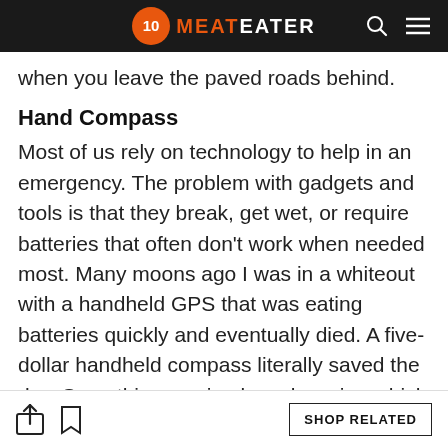MeatEater
when you leave the paved roads behind.
Hand Compass
Most of us rely on technology to help in an emergency. The problem with gadgets and tools is that they break, get wet, or require batteries that often don't work when needed most. Many moons ago I was in a whiteout with a handheld GPS that was eating batteries quickly and eventually died. A five-dollar handheld compass literally saved the day. Something as simple as knowing which way is North
SHOP RELATED